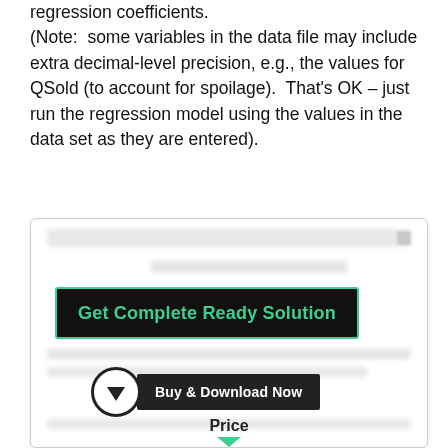regression coefficients.
(Note:  some variables in the data file may include extra decimal-level precision, e.g., the values for QSold (to account for spoilage).  That's OK – just run the regression model using the values in the data set as they are entered).
[Figure (other): Promotional overlay box with 'Get Complete Ready Solution' button in dark background with green border, a 'Buy & Download Now' button with a download circle icon, blurred text lines above and below, and a 'Price' label at the bottom.]